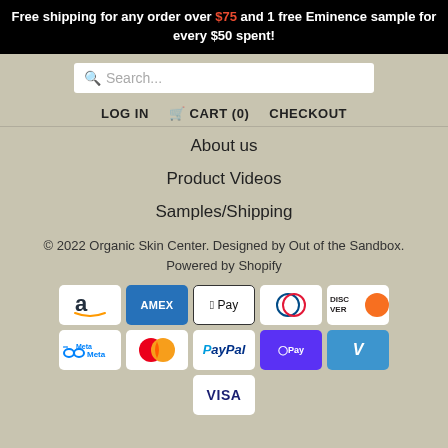Free shipping for any order over $75 and 1 free Eminence sample for every $50 spent!
Search...
LOG IN  🛒 CART (0)  CHECKOUT
About us
Product Videos
Samples/Shipping
© 2022 Organic Skin Center. Designed by Out of the Sandbox. Powered by Shopify
[Figure (other): Payment method icons: Amazon, Amex, Apple Pay, Diners Club, Discover, Meta Pay, Mastercard, PayPal, Shop Pay, Venmo, Visa]